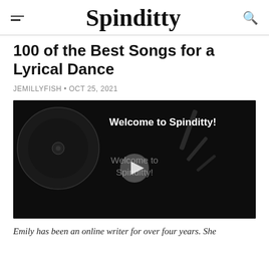Spinditty
100 of the Best Songs for a Lyrical Dance
JEMILLYFISH • OCT 25, 2021
[Figure (screenshot): Video thumbnail with dark background showing a vinyl record and tonearm. Text overlay says 'Welcome to Spinditty!' at top left, and a play button overlay in the center with text 'Welcome to Spinditty!']
Emily has been an online writer for over four years. She